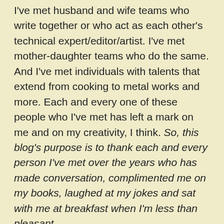I've met husband and wife teams who write together or who act as each other's technical expert/editor/artist. I've met mother-daughter teams who do the same. And I've met individuals with talents that extend from cooking to metal works and more. Each and every one of these people who I've met has left a mark on me and on my creativity, I think. So, this blog's purpose is to thank each and every person I've met over the years who has made conversation, complimented me on my books, laughed at my jokes and sat with me at breakfast when I'm less than pleasant.
While I'm an introvert at heart, I've come to appreciate and look forward to the reader/author events I go to each year and to see the friends I've made. I relish the opportunity to talk books with people who equally appreciate them, as I do. And I look forward to being able to do this in the future as well.